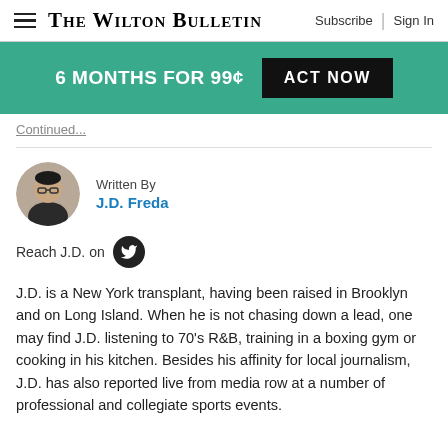THE WILTON BULLETIN  Subscribe  Sign In
[Figure (infographic): Promotional banner: green background with text '6 MONTHS FOR 99¢' and black button 'ACT NOW']
Written By
J.D. Freda
Reach J.D. on
J.D. is a New York transplant, having been raised in Brooklyn and on Long Island. When he is not chasing down a lead, one may find J.D. listening to 70's R&B, training in a boxing gym or cooking in his kitchen. Besides his affinity for local journalism, J.D. has also reported live from media row at a number of professional and collegiate sports events.